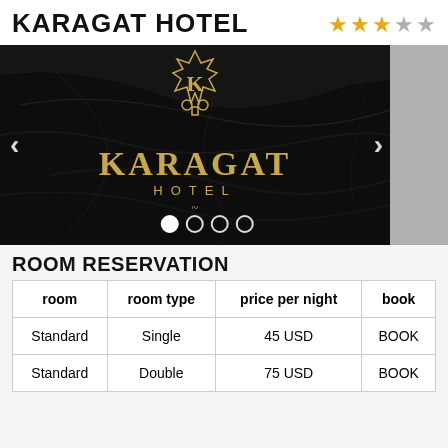KARAGAT HOTEL
[Figure (photo): Hotel logo image on dark marble background showing KARAGAT HOTEL branding with K emblem and navigation arrows, carousel dots at bottom]
ROOM RESERVATION
| room | room type | price per night | book |
| --- | --- | --- | --- |
| Standard | Single | 45 USD | BOOK |
| Standard | Double | 75 USD | BOOK |